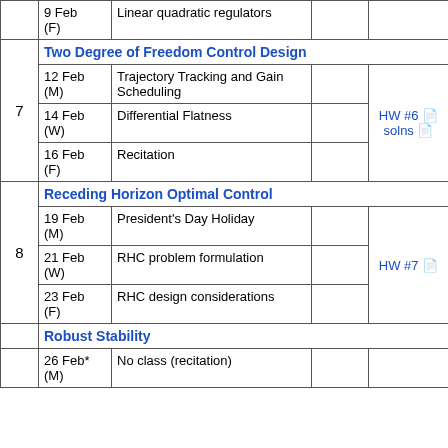| Week | Date | Topic | Reading | HW/Other |
| --- | --- | --- | --- | --- |
|  | 9 Feb (F) | Linear quadratic regulators |  |  |
| 7 | Two Degree of Freedom Control Design |  |  |  |
| 7 | 12 Feb (M) | Trajectory Tracking and Gain Scheduling |  | HW #6 solns |
| 7 | 14 Feb (W) | Differential Flatness |  |  |
| 7 | 16 Feb (F) | Recitation |  |  |
| 8 | Receding Horizon Optimal Control |  |  |  |
| 8 | 19 Feb (M) | President's Day Holiday |  |  |
| 8 | 21 Feb (W) | RHC problem formulation |  | HW #7 |
| 8 | 23 Feb (F) | RHC design considerations |  |  |
|  | Robust Stability |  |  |  |
|  | 26 Feb* (M) | No class (recitation) |  |  |